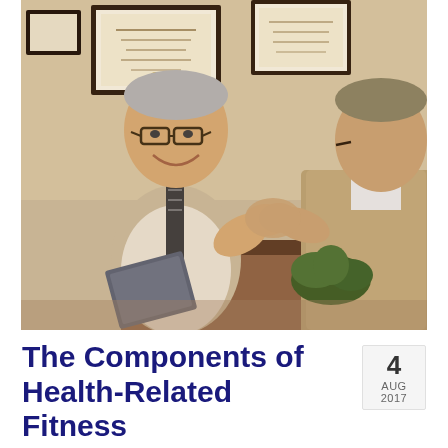[Figure (photo): Two men in business attire shaking hands and smiling in an office setting with framed diplomas/certificates on the wall behind them. One man wears glasses and a striped tie with a light shirt; the other wears a tan/beige suit jacket. They appear to be a doctor and patient or two professionals greeting each other.]
The Components of Health-Related Fitness
4
AUG 2017